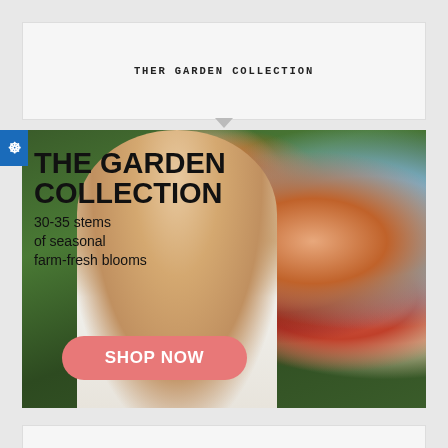THER GARDEN COLLECTION
[Figure (photo): A woman with long auburn hair smelling a large bouquet of mixed seasonal flowers including orange roses, red/pink chrysanthemums, blue hydrangeas, and white roses, against a green foliage background. Text overlay reads: THE GARDEN COLLECTION, 30-35 stems of seasonal farm-fresh blooms, with a pink SHOP NOW button.]
THE GARDEN COLLECTION
30-35 stems of seasonal farm-fresh blooms